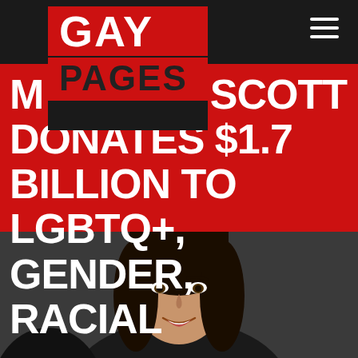[Figure (logo): Gay Pages logo: 'GAY' in white on red background, 'PAGES' in dark on red background, stacked vertically on dark background]
[Figure (infographic): Hamburger menu icon (three horizontal white lines) in top right corner on dark background]
MACKENZIE SCOTT DONATES $1.7 BILLION TO LGBTQ+, GENDER, RACIAL
[Figure (photo): Photo of a smiling woman with long dark hair against a dark background, identified as MacKenzie Scott]